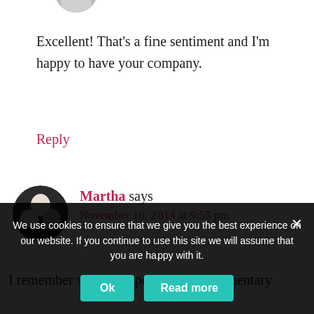[Figure (photo): Partial circular avatar image cropped at top of page]
Excellent! That’s a fine sentiment and I’m happy to have your company.
Reply
[Figure (photo): Circular avatar photo of Martha showing two elderly people]
Martha says
November 10, 2014 at 9:55 pm
I remember wearing a poppy in my elementary
We use cookies to ensure that we give you the best experience on our website. If you continue to use this site we will assume that you are happy with it.